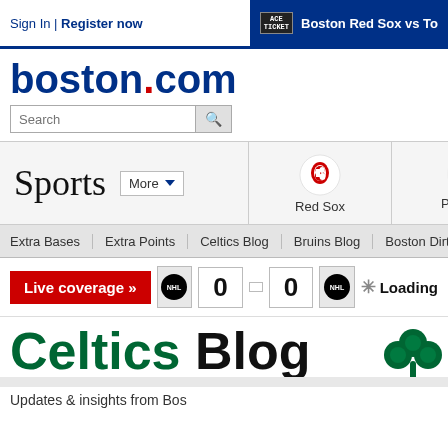Sign In | Register now    Boston Red Sox vs To...
boston.com
Search
Sports   More
[Figure (logo): Red Sox logo with text 'Red Sox']
[Figure (logo): Patriots logo with text 'Patriots']
Extra Bases   Extra Points   Celtics Blog   Bruins Blog   Boston Dirt Dogs   Th...
Live coverage »   0   0   Loading
[Figure (logo): Celtics Blog logo with shamrock - green text 'Celtics' black text 'Blog' and green shamrock icon]
Updates & insights from Bos...